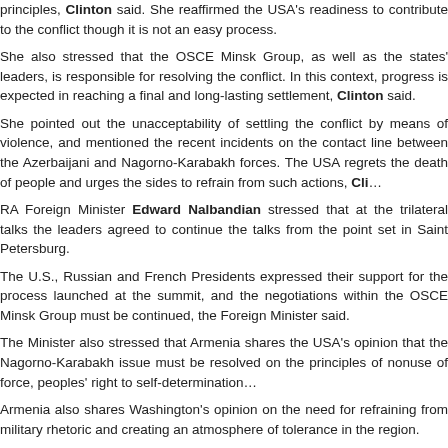principles, Clinton said. She reaffirmed the USA's readiness to contribute to the conflict though it is not an easy process.
She also stressed that the OSCE Minsk Group, as well as the states' leaders, is responsible for resolving the conflict. In this context, progress is expected in reaching a final and long-lasting settlement, Clinton said.
She pointed out the unacceptability of settling the conflict by means of violence, and mentioned the recent incidents on the contact line between the Azerbaijani and Nagorno-Karabakh forces. The USA regrets the death of people and urges the sides to refrain from such actions, Clinton said.
RA Foreign Minister Edward Nalbandian stressed that at the trilateral talks the leaders agreed to continue the talks from the point set in Saint Petersburg.
The U.S., Russian and French Presidents expressed their support for the process launched at the summit, and the negotiations within the OSCE Minsk Group must be continued, the Foreign Minister said.
The Minister also stressed that Armenia shares the USA's opinion that the Nagorno-Karabakh issue must be resolved on the principles of nonuse of force, peoples' right to self-determination, and territorial integrity.
Armenia also shares Washington's opinion on the need for refraining from military rhetoric and creating an atmosphere of tolerance in the region.
armenians.net